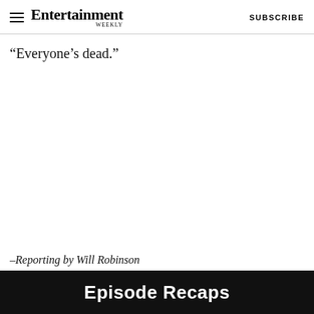Entertainment Weekly  SUBSCRIBE
“Everyone’s dead.”
–Reporting by Will Robinson
Episode Recaps